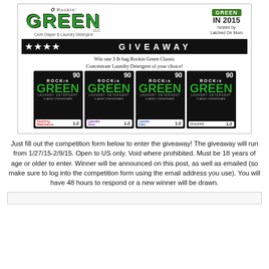[Figure (infographic): Rockin Green LLC Cloth Diaper & Laundry Detergent logo with 'Green in 2015 hosted by Latched On Mom' badge, four-star GIVEAWAY banner, win text, and four product bags of Rockin Green Classic Concentrate Laundry Detergent in different scents]
Just fill out the competition form below to enter the giveaway! The giveaway will run from 1/27/15-2/9/15. Open to US only. Void where prohibited. Must be 18 years of age or older to enter. Winner will be announced on this post, as well as emailed (so make sure to log into the competition form using the email address you use). You will have 48 hours to respond or a new winner will be drawn.